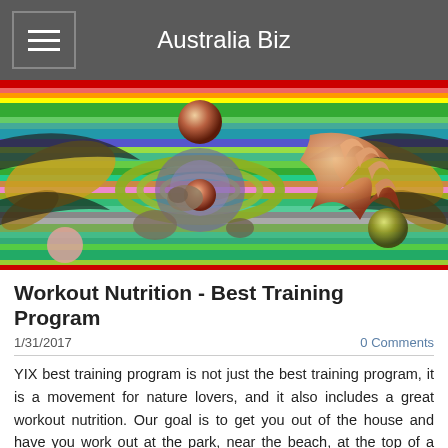Australia Biz
[Figure (illustration): Colorful abstract digital art with swirling green rings, 3D spheres, a hand reaching out, and symmetrical rainbow-striped wing-like patterns on a surreal background.]
Workout Nutrition - Best Training Program
1/31/2017
0 Comments
YIX best training program is not just the best training program, it is a movement for nature lovers, and it also includes a great workout nutrition. Our goal is to get you out of the house and have you work out at the park, near the beach, at the top of a mountain, in the forest or just outside your home in your backyard, to enjoy the fresh air, the ocean and all the beauty that nature has to offer. Send us your